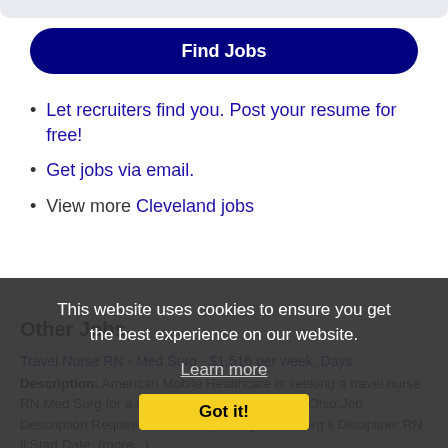[Figure (other): Top bar rounded gray strip]
Find Jobs
Let recruiters find you. Post your resume for free!
Get jobs via email.
View more Cleveland jobs
Other Jobs
Travel Nurse RN - Med Surg - $1,516 per week, Days Description: American Mobile Healthcare is seeking a travel nurse RN Med Surg for a travel nursing job in Warren, Ohio.Job Description Requirements ul li Specialty: Med Surg li Discipline: RN li Start Date: (more...)
This website uses cookies to ensure you get the best experience on our website. Learn more Got it!